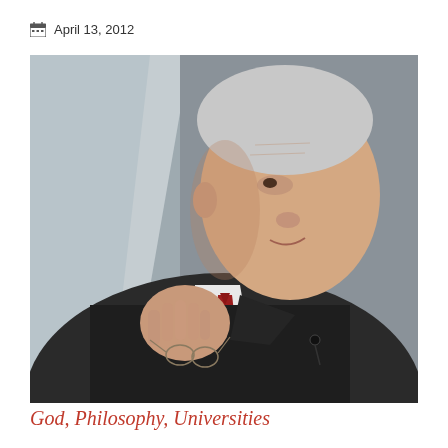April 13, 2012
[Figure (photo): Elderly man in dark suit, white shirt, and red tie, holding glasses in one hand while speaking, photographed against a grey background]
God, Philosophy, Universities